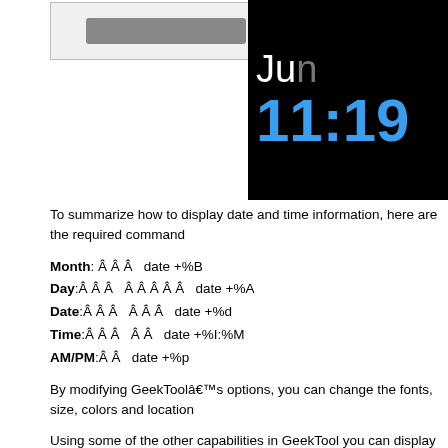[Figure (screenshot): Screenshot box with a dark button/bar inside a light bordered frame on the left side]
[Figure (screenshot): Black panel showing date 'Jun' in white and time '11:19' in blue, like a GeekTool clock display]
To summarize how to display date and time information, here are the required command
Month: Â Â Â  date +%B
Day:Â Â Â  Â Â Â Â Â  date +%A
Date:Â Â Â  Â Â Â  date +%d
Time:Â Â Â  Â Â  date +%I:%M
AM/PM:Â Â  date +%p
By modifying GeekToolâ€™s options, you can change the fonts, size, colors and location
Using some of the other capabilities in GeekTool you can display images from any webs radar images, especially if you live in an area with active or severe weather.
To find an appropriate image, go to either your local news channels website. Weather Ch National Weather Service website and find their weather radar images. An image that wo static filename that the website uses to display the radar image. Dynamically named ima